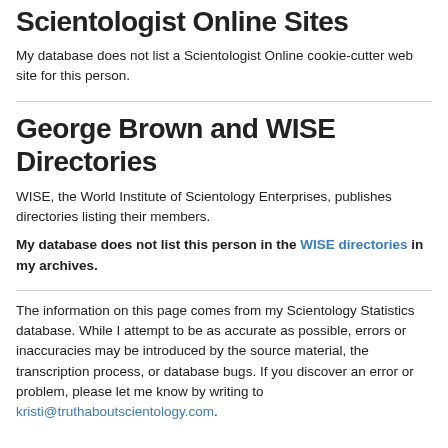Scientologist Online Sites
My database does not list a Scientologist Online cookie-cutter web site for this person.
George Brown and WISE Directories
WISE, the World Institute of Scientology Enterprises, publishes directories listing their members.
My database does not list this person in the WISE directories in my archives.
The information on this page comes from my Scientology Statistics database. While I attempt to be as accurate as possible, errors or inaccuracies may be introduced by the source material, the transcription process, or database bugs. If you discover an error or problem, please let me know by writing to kristi@truthaboutscientology.com.